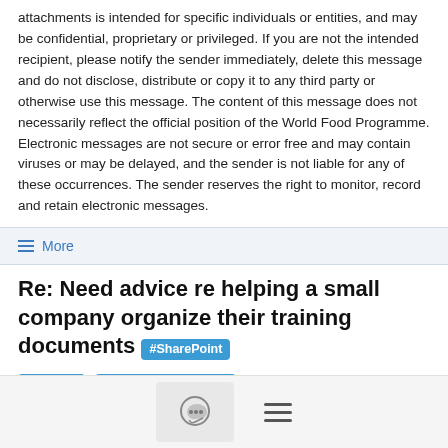attachments is intended for specific individuals or entities, and may be confidential, proprietary or privileged. If you are not the intended recipient, please notify the sender immediately, delete this message and do not disclose, distribute or copy it to any third party or otherwise use this message. The content of this message does not necessarily reflect the official position of the World Food Programme. Electronic messages are not secure or error free and may contain viruses or may be delayed, and the sender is not liable for any of these occurrences. The sender reserves the right to monitor, record and retain electronic messages.
≡ More
Re: Need advice re helping a small company organize their training documents #SharePoint #learning #content-management
Ginetta Gueli  7/06/21